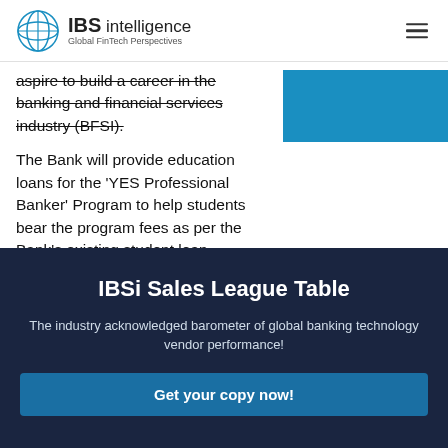IBS intelligence — Global FinTech Perspectives
aspire to build a career in the banking and financial services industry (BFSI).
[Figure (photo): Blue rectangular image placeholder]
The Bank will provide education loans for the 'YES Professional Banker' Program to help students bear the program fees as per the Bank's existing student loan eligibility criteria. Once the candidates complete the program, they will be awarded a Post Graduate Diploma in Banking from Manipal Academy of Higher Education (MAHE),
IBSi Sales League Table
The industry acknowledged barometer of global banking technology vendor performance!
Get your copy now!